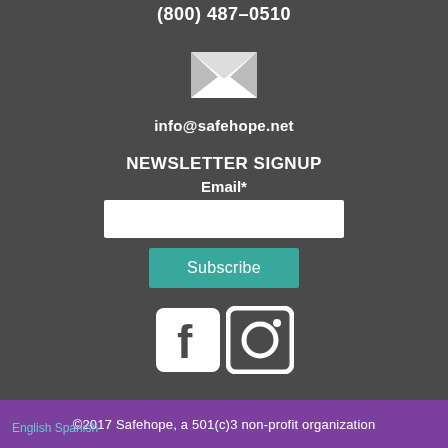(800) 487–0510
[Figure (illustration): White envelope/email icon on dark background]
info@safehope.net
NEWSLETTER SIGNUP
Email*
[Figure (illustration): White input text box for email entry]
Subscribe
[Figure (illustration): Facebook and Instagram social media icons in white]
©2017 Safehope, a 501(c)3 non-profit organization